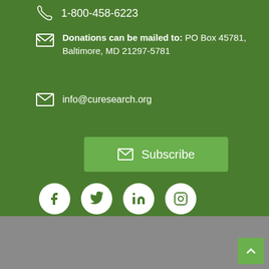1-800-458-6223
Donations can be mailed to: PO Box 45781, Baltimore, MD 21297-5781
info@curesearch.org
Subscribe
[Figure (other): Social media icons: Facebook, Twitter, LinkedIn, Instagram]
© 2022 CureSearch for Children's Cancer. All Rights Reserved. CureSearch for Children's Cancer is a 501(c)(3) U.S. based non-profit organization. EIN #95-4132414